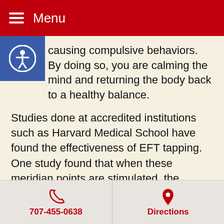Menu
causing compulsive behaviors. By doing so, you are calming the mind and returning the body back to a healthy balance.
Studies done at accredited institutions such as Harvard Medical School have found the effectiveness of EFT tapping. One study found that when these meridian points are stimulated, the body’s stress and fear responses are lowered. Dr. Dawson Church has spent many years studying tapping and has found that war veterans who received tapping treatment had a 63 percent decrease in PTSD symptoms.
OCD is not something that is easily curable, but there are
707-455-0638   Directions